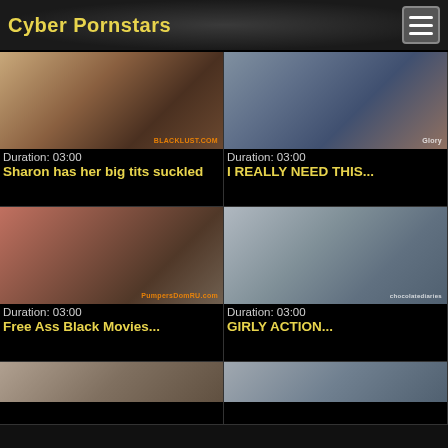Cyber Pornstars
[Figure (screenshot): Video thumbnail 1]
Duration: 03:00
Sharon has her big tits suckled
[Figure (screenshot): Video thumbnail 2]
Duration: 03:00
I REALLY NEED THIS...
[Figure (screenshot): Video thumbnail 3]
Duration: 03:00
Free Ass Black Movies...
[Figure (screenshot): Video thumbnail 4]
Duration: 03:00
GIRLY ACTION...
[Figure (screenshot): Video thumbnail 5 (partial)]
[Figure (screenshot): Video thumbnail 6 (partial)]